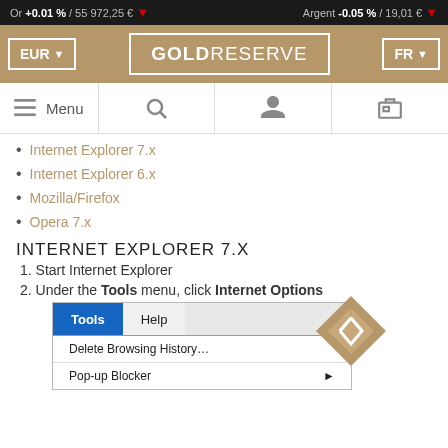Or +0.01 % / 55 972,25 € ↓   Argent -0.05 % / 19,01 € ↓
[Figure (screenshot): GoldReserve website header with EUR currency selector, GOLDRESERVE logo, and FR language selector]
[Figure (screenshot): Navigation bar with hamburger Menu, search icon, user icon, and shopping cart icon]
Internet Explorer 7.x
Internet Explorer 6.x
Mozilla/Firefox
Opera 7.x
INTERNET EXPLORER 7.X
1. Start Internet Explorer
2. Under the Tools menu, click Internet Options
[Figure (screenshot): Internet Explorer Tools menu dropdown showing Tools and Help tabs, with Delete Browsing History... and Pop-up Blocker menu items. A diamond-shaped GoldReserve logo watermark overlaps the top right corner.]